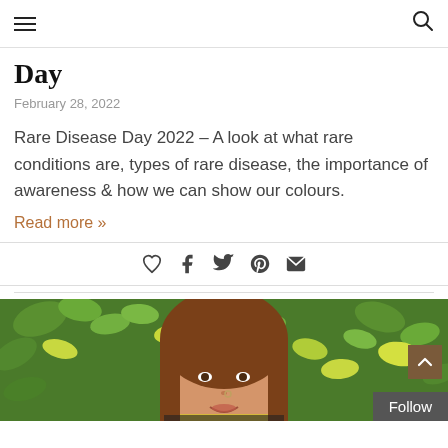Day
February 28, 2022
Rare Disease Day 2022 – A look at what rare conditions are, types of rare disease, the importance of awareness & how we can show our colours.
Read more »
[Figure (other): Social sharing icons: heart/like, Facebook, Twitter, Pinterest, email]
[Figure (photo): A young woman with long brown hair and a nose ring, smiling slightly, surrounded by green leafy plants. She is wearing a dark top and holding something yellow.]